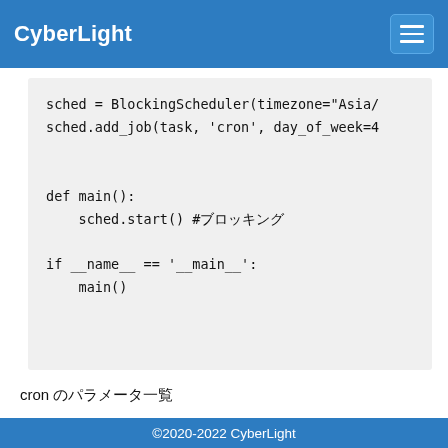CyberLight
[Figure (screenshot): Code block showing Python scheduler code with sched = BlockingScheduler(timezone='Asia/...'), sched.add_job(task, 'cron', day_of_week=4...), def main(): sched.start() #??????, if __name__ == '__main__': main()]
cron ????????????
year (int|str) – 4-digit year
month (int|str) – month (1-12)
©2020-2022 CyberLight